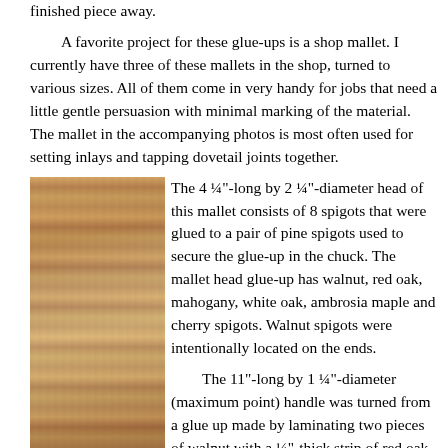finished piece away.
   A favorite project for these glue-ups is a shop mallet. I currently have three of these mallets in the shop, turned to various sizes. All of them come in very handy for jobs that need a little gentle persuasion with minimal marking of the material. The mallet in the accompanying photos is most often used for setting inlays and tapping dovetail joints together.
[Figure (photo): Stacked wooden spigots/discs arranged on a rack, showing various wood species in different colors]
There is little planning during the glue-up process. Placement of the walnut
The 4 ¼"-long by 2 ¼"-diameter head of this mallet consists of 8 spigots that were glued to a pair of pine spigots used to secure the glue-up in the chuck. The mallet head glue-up has walnut, red oak, mahogany, white oak, ambrosia maple and cherry spigots. Walnut spigots were intentionally located on the ends.
   The 11"-long by 1 ¼"-diameter (maximum point) handle was turned from a glue up made by laminating two pieces of walnut with a ¼"-thick strip of red oak